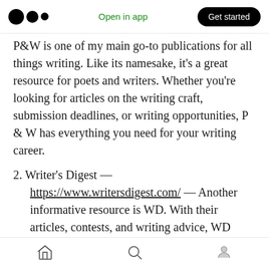Open in app  Get started
P&W is one of my main go-to publications for all things writing. Like its namesake, it’s a great resource for poets and writers. Whether you’re looking for articles on the writing craft, submission deadlines, or writing opportunities, P & W has everything you need for your writing career.
2. Writer’s Digest — https://www.writersdigest.com/ — Another informative resource is WD. With their articles, contests, and writing advice, WD helps writers in all genres reach their writing
Home  Search  Profile